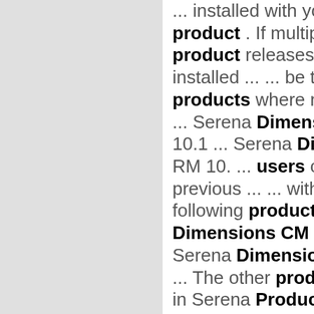... installed with your product . If multiple product releases are installed ... ... be true for products where no upgrade ... Serena Dimensions CM 10.1 ... Serena Dimensions RM 10. ... users of a previous ... ... with the following products : Serena Dimensions CM 10.1 ... Serena Dimensions RM 10. ... The other products listed in Serena Product Compatibility list will ... ... Always Available to Users With Named Licenses ... Allocated to TeamTrack Users ... of the listed product releases that